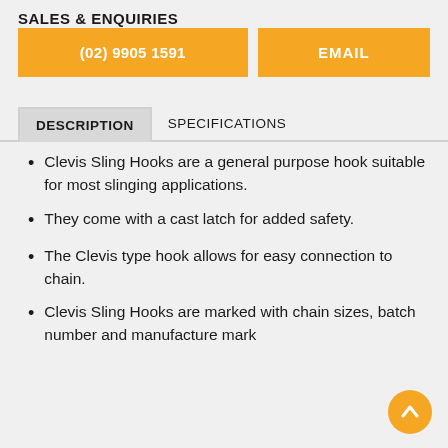SALES & ENQUIRIES
(02) 9905 1591
EMAIL
DESCRIPTION	SPECIFICATIONS
Clevis Sling Hooks are a general purpose hook suitable for most slinging applications.
They come with a cast latch for added safety.
The Clevis type hook allows for easy connection to chain.
Clevis Sling Hooks are marked with chain sizes, batch number and manufacture mark